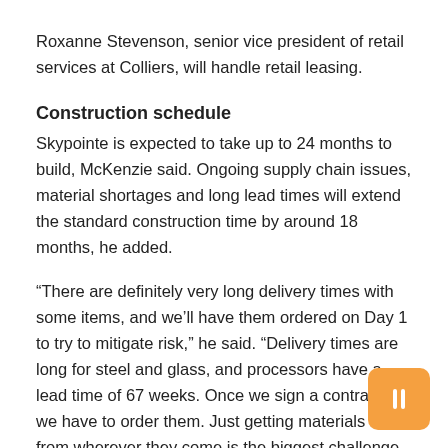Roxanne Stevenson, senior vice president of retail services at Colliers, will handle retail leasing.
Construction schedule
Skypointe is expected to take up to 24 months to build, McKenzie said. Ongoing supply chain issues, material shortages and long lead times will extend the standard construction time by around 18 months, he added.
“There are definitely very long delivery times with some items, and we’ll have them ordered on Day 1 to try to mitigate risk,” he said. “Delivery times are long for steel and glass, and processors have a lead time of 67 weeks. Once we sign a contract, we have to order them. Just getting materials here from wherever they come is the biggest challenge.
World-renowned architectural firm Gensler of San Francisco is designing Skypointe and is currently working with contractors to coordinate their design teams, McKenzie said. The developer has